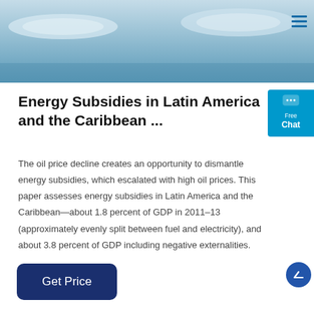[Figure (photo): Blue underwater or aerial photo showing circular plate-like objects on a light blue background, used as a hero/banner image.]
Energy Subsidies in Latin America and the Caribbean ...
The oil price decline creates an opportunity to dismantle energy subsidies, which escalated with high oil prices. This paper assesses energy subsidies in Latin America and the Caribbean—about 1.8 percent of GDP in 2011–13 (approximately evenly split between fuel and electricity), and about 3.8 percent of GDP including negative externalities.
Get Price